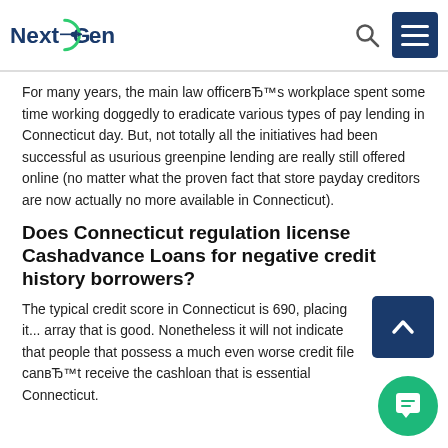NextGen — logo, search icon, menu button
For many years, the main law officerвЂ™s workplace spent some time working doggedly to eradicate various types of pay lending in Connecticut day. But, not totally all the initiatives had been successful as usurious greenpine lending are really still offered online (no matter what the proven fact that store payday creditors are now actually no more available in Connecticut).
Does Connecticut regulation license Cashadvance Loans for negative credit history borrowers?
The typical credit score in Connecticut is 690, placing it... array that is good. Nonetheless it will not indicate that people that possess a much even worse credit file canвЂ™t receive the cashloan that is essential Connecticut.